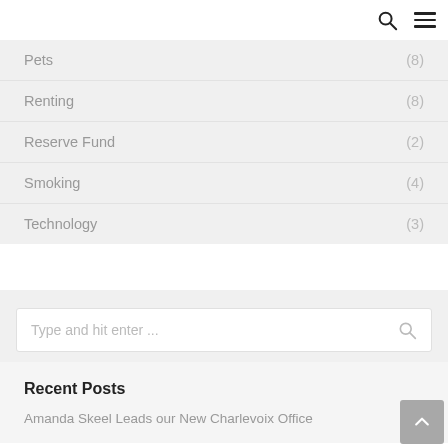Search and navigation header with search icon and hamburger menu
Pets (8)
Renting (8)
Reserve Fund (2)
Smoking (4)
Technology (3)
Type and hit enter ...
Recent Posts
Amanda Skeel Leads our New Charlevoix Office